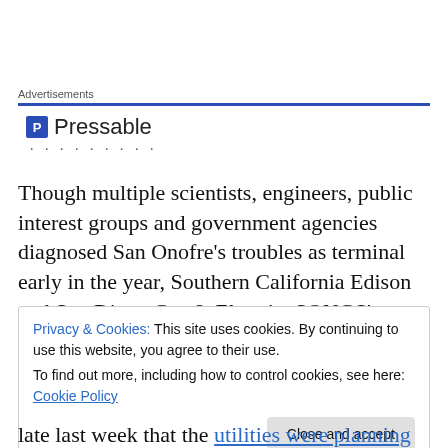Advertisements
[Figure (logo): Pressable logo with icon and name, followed by dots]
Though multiple scientists, engineers, public interest groups and government agencies diagnosed San Onofre’s troubles as terminal early in the year, Southern California Edison and San Diego Gas & Electric, SONGS’
Privacy & Cookies: This site uses cookies. By continuing to use this website, you agree to their use.
To find out more, including how to control cookies, see here: Cookie Policy
Close and accept
late last week that the utilities were planning for a 2013